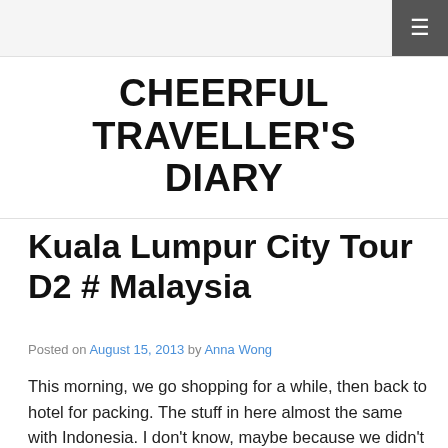CHEERFUL TRAVELLER'S DIARY
CHEERFUL TRAVELLER'S DIARY
Kuala Lumpur City Tour D2 # Malaysia
Posted on August 15, 2013 by Anna Wong
This morning, we go shopping for a while, then back to hotel for packing. The stuff in here almost the same with Indonesia. I don't know, maybe because we didn't buy wholesale. We just buy 1 / 2pcs. But the quality is better.